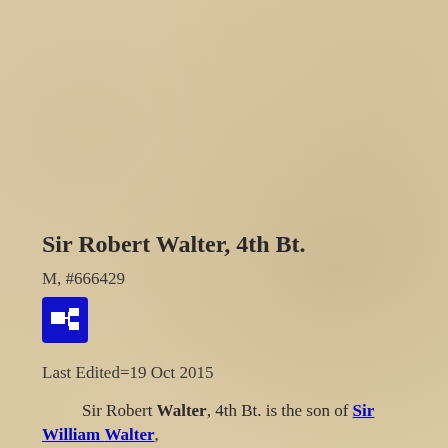Sir Robert Walter, 4th Bt.
M, #666429
[Figure (other): Blue icon box with a genealogy/family tree symbol (white squares connected)]
Last Edited=19 Oct 2015
Sir Robert Walter, 4th Bt. is the son of Sir William Walter,